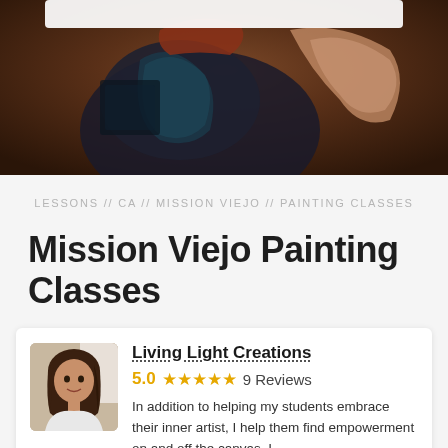[Figure (photo): Dark-toned hero image showing a person painting, with dark clothing and visible canvas/artwork in progress. Brown and dark teal tones.]
LESSONS // CA // MISSION VIEJO // PAINTING CLASSES
Mission Viejo Painting Classes
Living Light Creations
5.0 ★★★★★ 9 Reviews
In addition to helping my students embrace their inner artist, I help them find empowerment on and off the canvas. I